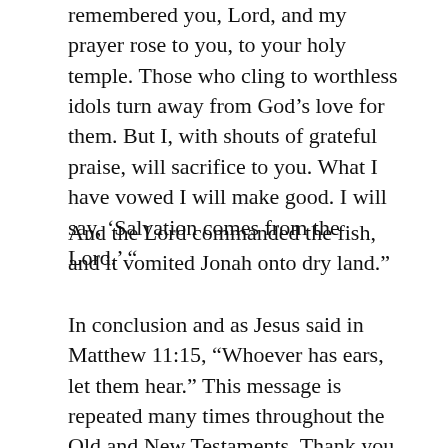remembered you, Lord, and my prayer rose to you, to your holy temple. Those who cling to worthless idols turn away from God's love for them. But I, with shouts of grateful praise, will sacrifice to you. What I have vowed I will make good. I will say, ‘Salvation comes from the Lord.’ ”
And the Lord commanded the fish, and it vomited Jonah onto dry land.”
In conclusion and as Jesus said in Matthew 11:15, “Whoever has ears, let them hear.” This message is repeated many times throughout the Old and New Testaments. Thank you for your time.
Share this:
Twitter  Facebook